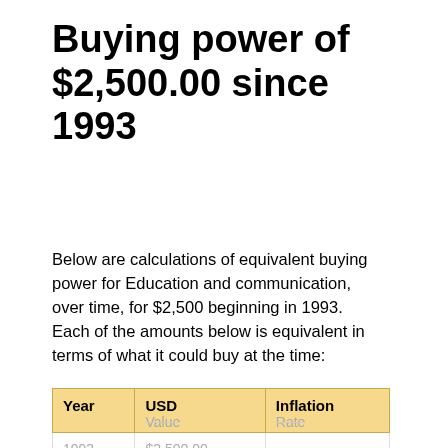Buying power of $2,500.00 since 1993
Below are calculations of equivalent buying power for Education and communication, over time, for $2,500 beginning in 1993. Each of the amounts below is equivalent in terms of what it could buy at the time:
| Year | USD Value | Inflation Rate |
| --- | --- | --- |
| 1993 | $2,500.00 | - |